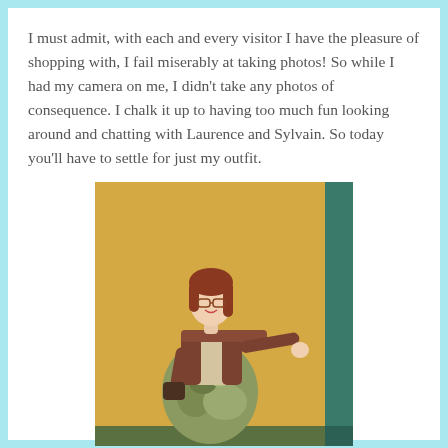I must admit, with each and every visitor I have the pleasure of shopping with, I fail miserably at taking photos! So while I had my camera on me, I didn't take any photos of consequence. I chalk it up to having too much fun looking around and chatting with Laurence and Sylvain. So today you'll have to settle for just my outfit.
[Figure (photo): A woman with red hair and glasses wearing a brown jacket, beige top, and floral/patterned skirt, standing against an orange/tan wall with a teal green wall section visible on the right.]